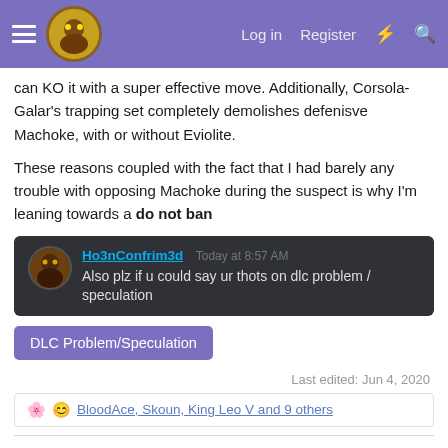Log in  Register
can KO it with a super effective move. Additionally, Corsola-Galar's trapping set completely demolishes defensive Machoke, with or without Eviolite.
These reasons coupled with the fact that I had barely any trouble with opposing Machoke during the suspect is why I'm leaning towards a do not ban
[Figure (screenshot): Discord embed showing message from Ho3nConfrim3d: 'Also plz if u could say ur thots on dlc problem / speculation']
DLC Problem/Speculation
Last edited: Jun 4, 2020
BloodAce, Skoun, King Leo V and 9 others
ShinyAzelf